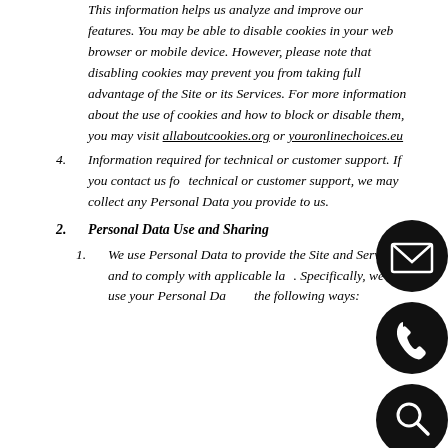This information helps us analyze and improve our features. You may be able to disable cookies in your web browser or mobile device. However, please note that disabling cookies may prevent you from taking full advantage of the Site or its Services. For more information about the use of cookies and how to block or disable them, you may visit allaboutcookies.org or youronlinechoices.eu
4. Information required for technical or customer support. If you contact us for technical or customer support, we may collect any Personal Data you provide to us.
2. Personal Data Use and Sharing
1. We use Personal Data to provide the Site and Services and to comply with applicable law. Specifically, we may use your Personal Data in the following ways:
[Figure (illustration): Three circular black icon buttons stacked vertically on the right side: envelope/email icon, phone icon, magnifying glass/search icon]